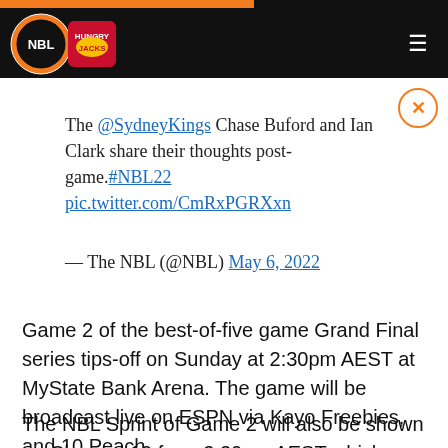NBL Hungry Jacks logo and navigation header
The @SydneyKings Chase Buford and Ian Clark share their thoughts post-game.#NBL22 pic.twitter.com/CmRxPGRXxn
— The NBL (@NBL) May 6, 2022
Game 2 of the best-of-five game Grand Final series tips-off on Sunday at 2:30pm AEST at MyState Bank Arena. The game will be broadcast live on ESPN via Kayo Freebies, and 10 Peach.
The NBL Sprint of Game 2 will also be shown on Channel 10 from 3:30pm AEST which includes a condensed version of the first three quarters followed